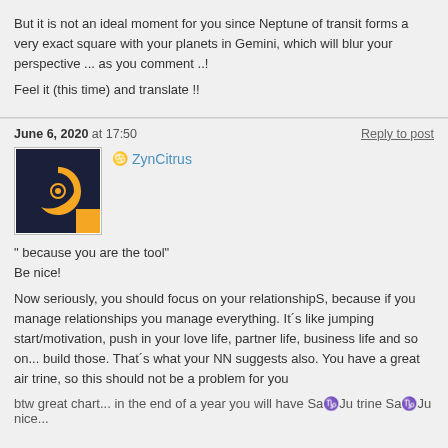But it is not an ideal moment for you since Neptune of transit forms a very exact square with your planets in Gemini, which will blur your perspective ... as you comment ..!

Feel it (this time) and translate !!
June 6, 2020 at 17:50
Reply to post
[Figure (photo): User avatar for ZynCitrus: dark navy background with orange crescent and spiral eye symbol]
ZynCitrus
" because you are the tool"
Be nice!

Now seriously, you should focus on your relationshipS, because if you manage relationships you manage everything. It´s like jumping start/motivation, push in your love life, partner life, business life and so on... build those. That´s what your NN suggests also. You have a great air trine, so this should not be a problem for you
btw great chart... in the end of a year you will have Sa♑Ju trine Sa♑Ju nice...